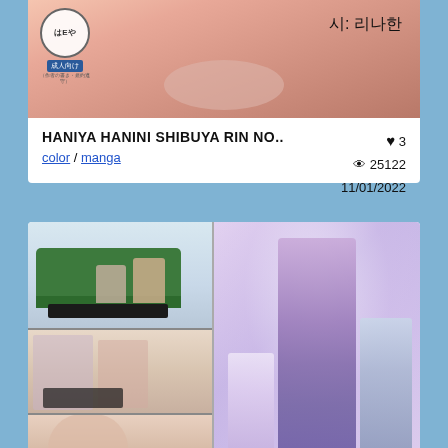[Figure (illustration): Anime/manga style adult illustration with Japanese text badge top-left and Korean text top-right reading 시: 리나한]
HANIYA HANINI SHIBUYA RIN NO..
color / manga
♥ 3  👁 25122  11/01/2022
[Figure (illustration): Manga comic panels showing anime characters in indoor scenes on the left, and a color character illustration of a woman with two children on the right with purple background]